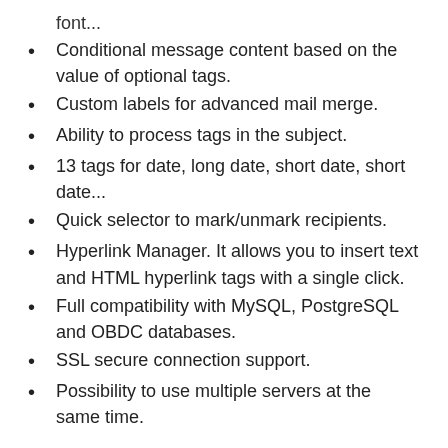font...
Conditional message content based on the value of optional tags.
Custom labels for advanced mail merge.
Ability to process tags in the subject.
13 tags for date, long date, short date, short date...
Quick selector to mark/unmark recipients.
Hyperlink Manager. It allows you to insert text and HTML hyperlink tags with a single click.
Full compatibility with MySQL, PostgreSQL and OBDC databases.
SSL secure connection support.
Possibility to use multiple servers at the same time.